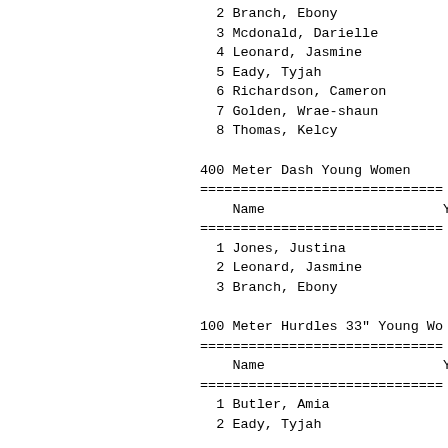2 Branch, Ebony
3 Mcdonald, Darielle
4 Leonard, Jasmine
5 Eady, Tyjah
6 Richardson, Cameron
7 Golden, Wrae-shaun
8 Thomas, Kelcy
400 Meter Dash Young Women
============================
Name                      Ye
============================
1 Jones, Justina
2 Leonard, Jasmine
3 Branch, Ebony
100 Meter Hurdles 33" Young Wo
============================
Name                      Ye
============================
1 Butler, Amia
2 Eady, Tyjah
400 Meter Hurdles 30" Young Wo
============================
Name                      Ye
============================
1 Butler, Amia
2 Eady, Tyjah
4x100 Meter Relay Young Women
============================
Team